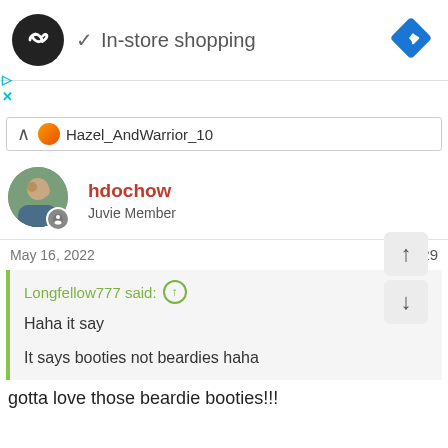[Figure (screenshot): Top bar with logo circle (infinity symbol), checkmark, 'In-store shopping' text, and blue diamond navigation icon. Ad icons (play and X) on left side.]
Hazel_AndWarrior_10
[Figure (photo): Forum user avatar photo of a person outdoors]
hdochow
Juvie Member
May 16, 2022
#29
Longfellow777 said:
Haha it say

It says booties not beardies haha
gotta love those beardie booties!!!